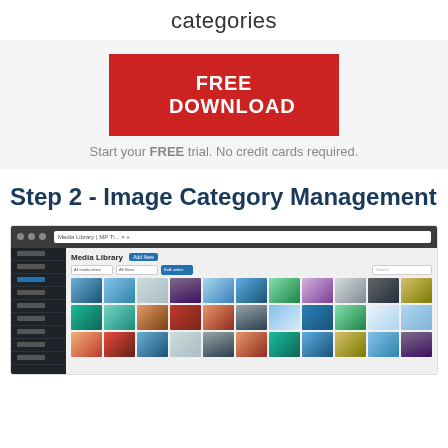categories
[Figure (screenshot): Red FREE DOWNLOAD button with white bold text on light grey background, with tagline below]
Start your FREE trial. No credit cards required.
Step 2 - Image Category Management
[Figure (screenshot): WordPress Media Library admin screen showing a grid of landscape/nature thumbnail images organized in rows, with sidebar navigation and filter controls at top]